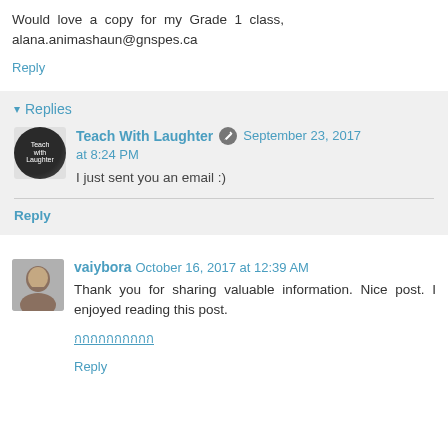Would love a copy for my Grade 1 class, alana.animashaun@gnspes.ca
Reply
▾ Replies
Teach With Laughter September 23, 2017 at 8:24 PM
I just sent you an email :)
Reply
vaiybora October 16, 2017 at 12:39 AM
Thank you for sharing valuable information. Nice post. I enjoyed reading this post.
ภาษาไทยลิงก์
Reply